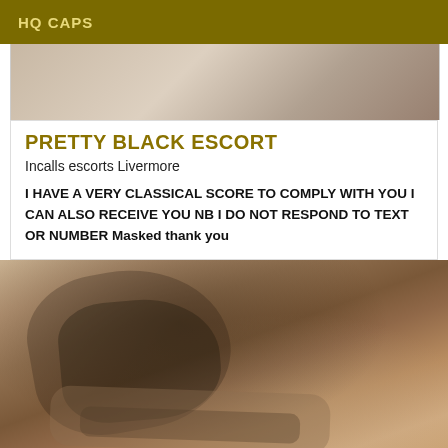HQ CAPS
[Figure (photo): Top portion of a person lying on white bedding, partial torso view]
PRETTY BLACK ESCORT
Incalls escorts Livermore
I HAVE A VERY CLASSICAL SCORE TO COMPLY WITH YOU I CAN ALSO RECEIVE YOU NB I DO NOT RESPOND TO TEXT OR NUMBER Masked thank you
[Figure (photo): Close-up photo of a person in black lingerie and grey shorts lying on a bed]